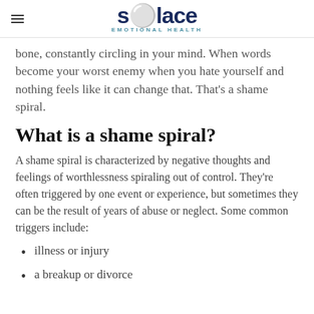Solace Emotional Health
bone, constantly circling in your mind. When words become your worst enemy when you hate yourself and nothing feels like it can change that. That's a shame spiral.
What is a shame spiral?
A shame spiral is characterized by negative thoughts and feelings of worthlessness spiraling out of control. They're often triggered by one event or experience, but sometimes they can be the result of years of abuse or neglect. Some common triggers include:
illness or injury
a breakup or divorce